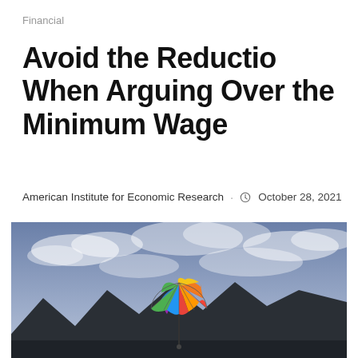Financial
Avoid the Reductio When Arguing Over the Minimum Wage
American Institute for Economic Research · October 28, 2021
[Figure (photo): Colorful rainbow umbrella held up against a cloudy sky with mountains in the background]